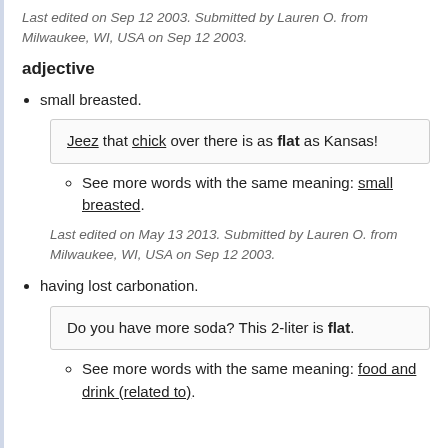Last edited on Sep 12 2003. Submitted by Lauren O. from Milwaukee, WI, USA on Sep 12 2003.
adjective
small breasted.
Jeez that chick over there is as flat as Kansas!
See more words with the same meaning: small breasted.
Last edited on May 13 2013. Submitted by Lauren O. from Milwaukee, WI, USA on Sep 12 2003.
having lost carbonation.
Do you have more soda? This 2-liter is flat.
See more words with the same meaning: food and drink (related to).